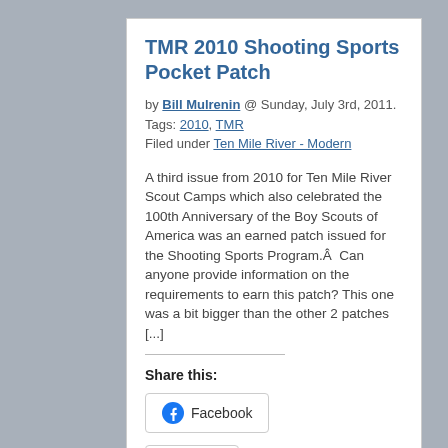TMR 2010 Shooting Sports Pocket Patch
by Bill Mulrenin @ Sunday, July 3rd, 2011. Tags: 2010, TMR Filed under Ten Mile River - Modern
A third issue from 2010 for Ten Mile River Scout Camps which also celebrated the 100th Anniversary of the Boy Scouts of America was an earned patch issued for the Shooting Sports Program.Â  Can anyone provide information on the requirements to earn this patch? This one was a bit bigger than the other 2 patches [...]
Share this:
[Figure (other): Facebook share button with Facebook icon]
[Figure (other): Twitter share button with Twitter bird icon (partially visible)]